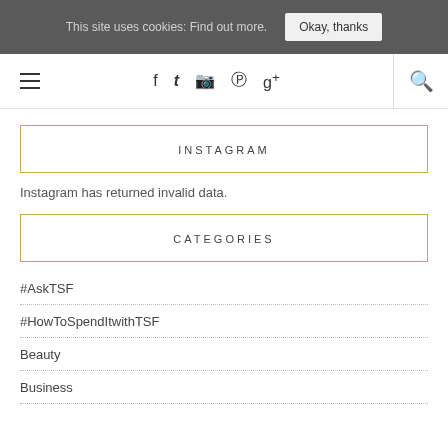This site uses cookies: Find out more. Okay, thanks
Navigation bar with hamburger menu, social icons (f, twitter, instagram, pinterest, google+), and search icon
INSTAGRAM
Instagram has returned invalid data.
CATEGORIES
#AskTSF
#HowToSpendItwithTSF
Beauty
Business